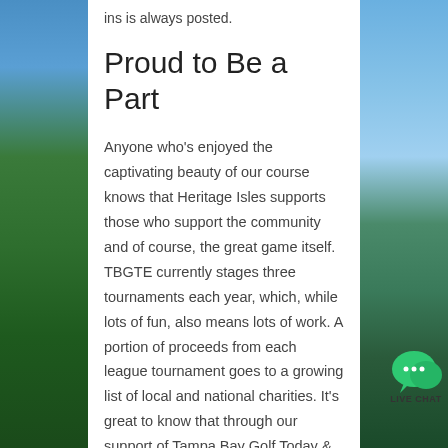ins is always posted.
Proud to Be a Part
Anyone who’s enjoyed the captivating beauty of our course knows that Heritage Isles supports those who support the community and of course, the great game itself. TBGTE currently stages three tournaments each year, which, while lots of fun, also means lots of work. A portion of proceeds from each league tournament goes to a growing list of local and national charities. It’s great to know that through our support of Tampa Bay Golf Today & Everyday we’re helping people enjoy the greatest game around while creating